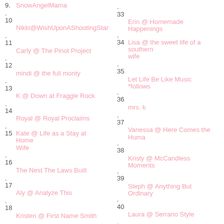9. SnowAngelMama
10. Nikki@WishUponAShootingStar
11. Carly @ The Pinot Project
12. mindi @ the full monty
13. K @ Down at Fraggle Rock
14. Royal @ Royal Proclaims
15. Kate @ Life as a Stay at Home Wife
16. The Nest The Laws Built
17. Aly @ Analyze This
18. Kristen @ First Name Smith
33. Erin @ Homemade Happenings
34. Lisa @ the sweet life of a southern wife
35. Let Life Be Like Music *follows
36. mrs. k
37. Vanessa @ Here Comes the Huma
38. Kristy @ McCandless Moments
39. Steph @ Anything But Ordinary
40. Laura @ Serrano Style
41. Kara W.
42. Karen @ Keeping Up With Karen A